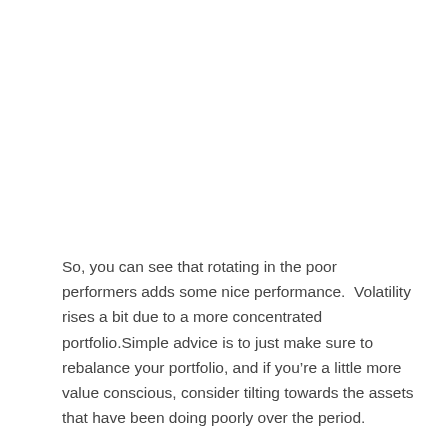So, you can see that rotating in the poor performers adds some nice performance.  Volatility rises a bit due to a more concentrated portfolio.Simple advice is to just make sure to rebalance your portfolio, and if you're a little more value conscious, consider tilting towards the assets that have been doing poorly over the period.